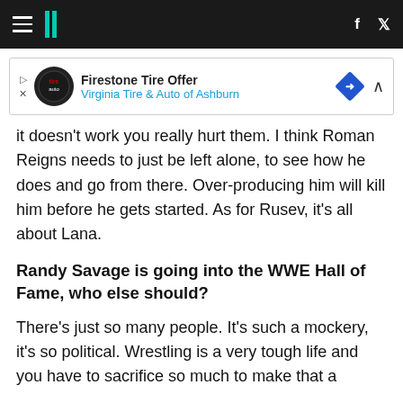HuffPost navigation bar with hamburger menu, logo, Facebook and Twitter icons
[Figure (other): Firestone Tire Offer advertisement banner — Virginia Tire & Auto of Ashburn]
it doesn't work you really hurt them. I think Roman Reigns needs to just be left alone, to see how he does and go from there. Over-producing him will kill him before he gets started. As for Rusev, it's all about Lana.
Randy Savage is going into the WWE Hall of Fame, who else should?
There's just so many people. It's such a mockery, it's so political. Wrestling is a very tough life and you have to sacrifice so much to make that a